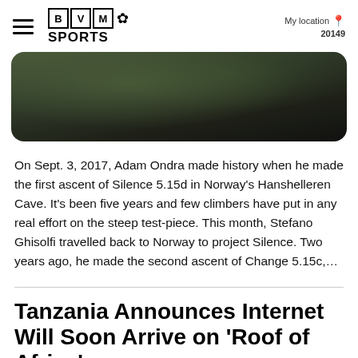BVM SPORTS | My location 20149
[Figure (photo): Dark rocky cave or cliff face with some green foliage visible, hero image for article]
On Sept. 3, 2017, Adam Ondra made history when he made the first ascent of Silence 5.15d in Norway's Hanshelleren Cave. It's been five years and few climbers have put in any real effort on the steep test-piece. This month, Stefano Ghisolfi travelled back to Norway to project Silence. Two years ago, he made the second ascent of Change 5.15c,…
Tanzania Announces Internet Will Soon Arrive on 'Roof of Africa'